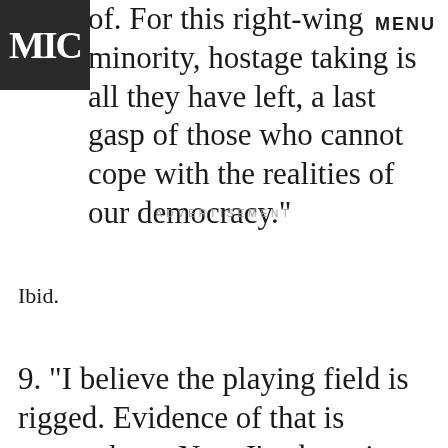MIC | MENU
of. For this right-wing minority, hostage taking is all they have left, a last gasp of those who cannot cope with the realities of our democracy."
ADVERTISEMENT
Ibid.
9. "I believe the playing field is rigged. Evidence of that is everywhere. Now I've been in the